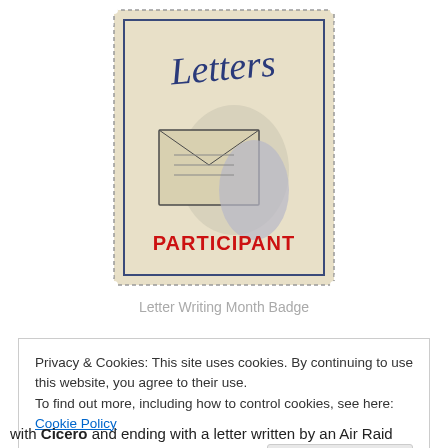[Figure (illustration): A postage stamp style badge showing a hand holding a letter/envelope with the word 'Letters' in cursive at the top and 'PARTICIPANT' in bold red text below. The stamp has a perforated edge design on a cream/beige background.]
Letter Writing Month Badge
Privacy & Cookies: This site uses cookies. By continuing to use this website, you agree to their use.
To find out more, including how to control cookies, see here: Cookie Policy
Close and accept
with Cicero and ending with a letter written by an Air Raid